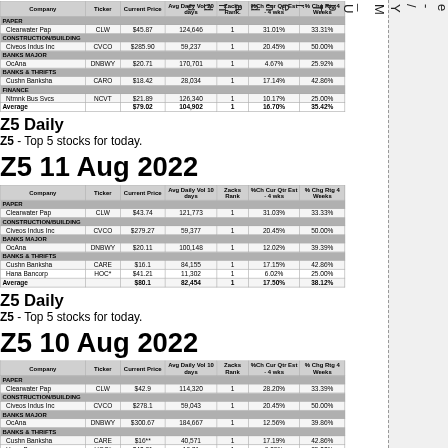| Company | Ticker | Current Price | Avg Daily Vol 20 days | Zacks Rank | % Chg Cur Qtr Est - 4 wks | % Chg Rtg 4 Weeks |
| --- | --- | --- | --- | --- | --- | --- |
| PAPER |  |  |  |  |  |  |
| Clearwater Pap | CLW | $45.87 | 124,646 | 1 | 31.01% | 33.31% |
| CONSTRUCTION/BUILDING |  |  |  |  |  |  |
| Civeos Indus Inc | CVCO | $285.90 | 59,237 | 1 | 20.45% | 50.00% |
| BANKS MAJOR |  |  |  |  |  |  |
| OcAna | DNBWY | $20.71 | 170,701 | 1 | 4.67% | 25.92% |
| BANKS & THRIFTS |  |  |  |  |  |  |
| Cushn Banksha | CARO | $18.42 | 28,034 | 1 | 17.14% | 42.86% |
| FINANCE |  |  |  |  |  |  |
| Ntmnk Bus Svcs | NCVT | $21.89 | 126,340 | 1 | 10.17% | 25.00% |
| Average |  | $79.02 | 104,902 | 1 | 16.70% | 35.42% |
Z5 Daily
Z5 - Top 5 stocks for today.
Z5 11 Aug 2022
| Company | Ticker | Current Price | Avg Daily Vol 10 days | Zacks Rank | % Chg Cur Qtr Est - 4 wks | % Chg Rtg 4 Weeks |
| --- | --- | --- | --- | --- | --- | --- |
| PAPER |  |  |  |  |  |  |
| Clearwater Pap | CLW | $43.74 | 121,773 | 1 | 31.03% | 33.33% |
| CONSTRUCTION/BUILDING |  |  |  |  |  |  |
| Civeos Indus Inc | CVCO | $279.27 | 59,377 | 1 | 20.45% | 50.00% |
| BANKS MAJOR |  |  |  |  |  |  |
| OcAna | DNBWY | $20.11 | 100,148 | 1 | 12.02% | 39.39% |
| BANKS & THRIFTS |  |  |  |  |  |  |
| Cushn Banksha | CARE | $16.1 | 84,155 | 1 | 17.15% | 42.86% |
| Hana Bancorp | HOC* | $41.21 | 11,302 | 1 | 6.02% | 25.00% |
| Average |  | $80.1 | 82,454 | 1 | 17.50% | 38.12% |
Z5 Daily
Z5 - Top 5 stocks for today.
Z5 10 Aug 2022
| Company | Ticker | Current Price | Avg Daily Vol 10 days | Zacks Rank | % Chg Cur Qtr Est - 4 wks | % Chg Rtg 4 Weeks |
| --- | --- | --- | --- | --- | --- | --- |
| PAPER |  |  |  |  |  |  |
| Clearwater Pap | CLW | $42.9 | 114,320 | 1 | 28.20% | 33.39% |
| CONSTRUCTION/BUILDING |  |  |  |  |  |  |
| Civeos Indus Inc | CVCO | $278.1 | 59,043 | 1 | 20.45% | 50.00% |
| BANKS MAJOR |  |  |  |  |  |  |
| OcAna | DNBWY | $300.67 | 184,667 | 1 | 12.56% | 39.86% |
| BANKS & THRIFTS |  |  |  |  |  |  |
| Cushn Banksha | CARE | $16** | 40,571 | 1 | 17.19% | 42.86% |
| Hana Bancorp | HOC* | $40.21 | 18.71 | 1 | 8.35% | 25.00% |
| Average |  | $279.61 | 48,441 | 1 | 17.40% | 38.12% |
Z5 Daily